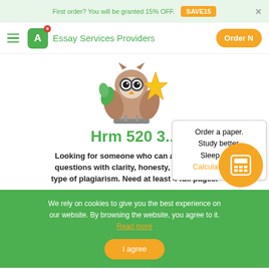First order? You will be granted 15% OFF. SAVE15
Essay Services Providers  Order N
[Figure (illustration): Cartoon owl mascot holding a gold star]
Hrm 520 3...
Order a paper. Study better. Sleep tight. Calculate Price!
Looking for someone who can answer ALL questions with clarity, honesty, integrity an type of plagiarism. Need at least 4 full pages.
We rely on cookies to give you the best experience on our website. By browsing the website, you agree to it. Read more
I agree